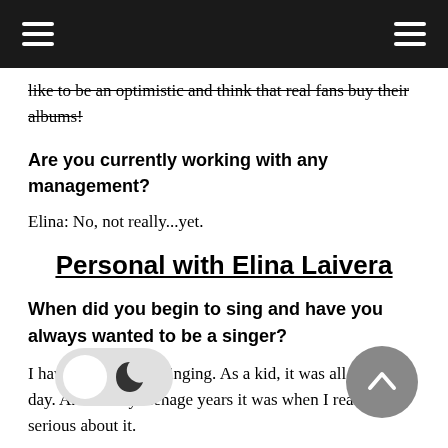navigation bar
like to be an optimistic and think that real fans buy their albums!
Are you currently working with any management?
Elina: No, not really...yet.
Personal with Elina Laivera
When did you begin to sing and have you always wanted to be a singer?
I have always been singing. As a kid, it was all I would do day. Around my teenage years it was when I really got serious about it.